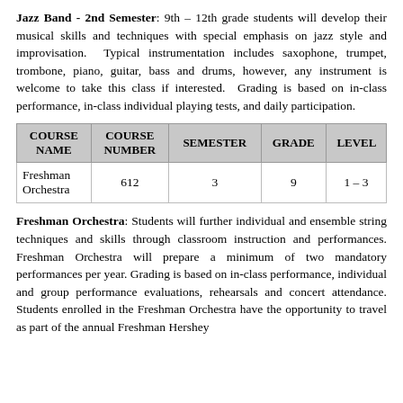Jazz Band - 2nd Semester: 9th – 12th grade students will develop their musical skills and techniques with special emphasis on jazz style and improvisation. Typical instrumentation includes saxophone, trumpet, trombone, piano, guitar, bass and drums, however, any instrument is welcome to take this class if interested. Grading is based on in-class performance, in-class individual playing tests, and daily participation.
| COURSE NAME | COURSE NUMBER | SEMESTER | GRADE | LEVEL |
| --- | --- | --- | --- | --- |
| Freshman Orchestra | 612 | 3 | 9 | 1 – 3 |
Freshman Orchestra: Students will further individual and ensemble string techniques and skills through classroom instruction and performances. Freshman Orchestra will prepare a minimum of two mandatory performances per year. Grading is based on in-class performance, individual and group performance evaluations, rehearsals and concert attendance. Students enrolled in the Freshman Orchestra have the opportunity to travel as part of the annual Freshman Hershey